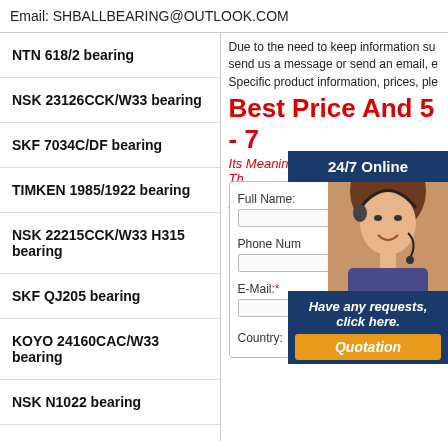Email: SHBALLBEARING@OUTLOOK.COM
NTN 618/2 bearing
NSK 23126CCK/W33 bearing
SKF 7034C/DF bearing
TIMKEN 1985/1922 bearing
NSK 22215CCK/W33 H315 bearing
SKF QJ205 bearing
KOYO 24160CAC/W33 bearing
NSK N1022 bearing
KOYO 606-RS bearing
FAG NA6911 bearing
Due to the need to keep information su... send us a message or send an email, e... Specific product information, prices, ple...
Best Price And 5 - 7...
Its Meaning We Can Offer Probably Th...
For Customer In...
We are a profess...
[Figure (photo): Customer service representative with headset, smiling]
24/7 Online
Full Name:
Phone Num...
Have any requests, click here.
E-Mail:
Quotation
Country: